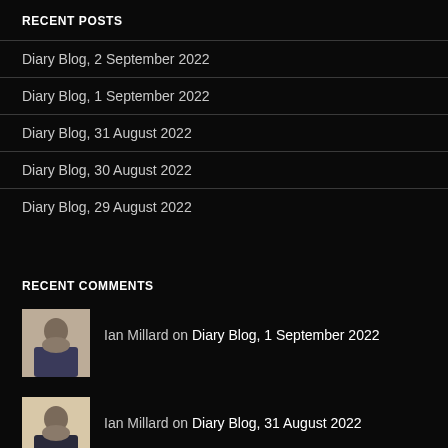RECENT POSTS
Diary Blog, 2 September 2022
Diary Blog, 1 September 2022
Diary Blog, 31 August 2022
Diary Blog, 30 August 2022
Diary Blog, 29 August 2022
RECENT COMMENTS
Ian Millard on Diary Blog, 1 September 2022
Ian Millard on Diary Blog, 31 August 2022